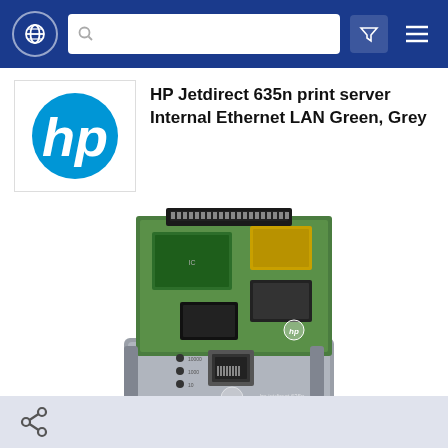HP Jetdirect 635n print server Internal Ethernet LAN Green, Grey
HP Jetdirect 635n print server Internal Ethernet LAN Green, Grey
[Figure (photo): HP Jetdirect 635n print server circuit board with green PCB, chips, and grey metal bracket with Ethernet port and LED indicators]
(0)
Share
Search similar products
Add to compare